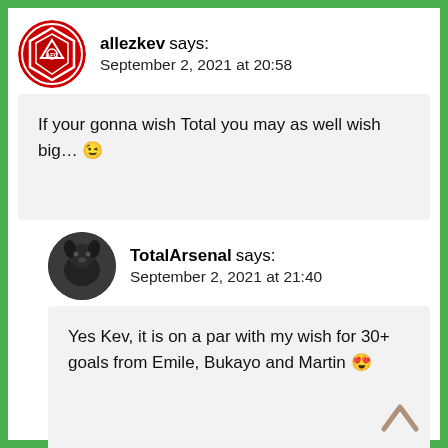[Figure (illustration): Red circular Arsenal badge avatar for user allezkev]
allezkev says:
September 2, 2021 at 20:58
If your gonna wish Total you may as well wish big… 😉
[Figure (photo): Dark dog photo avatar for user TotalArsenal]
TotalArsenal says:
September 2, 2021 at 21:40
Yes Kev, it is on a par with my wish for 30+ goals from Emile, Bukayo and Martin 😍